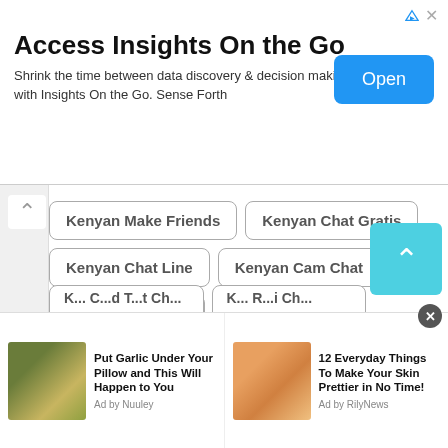[Figure (screenshot): Top advertisement banner for 'Access Insights On the Go' with an Open button]
Access Insights On the Go
Shrink the time between data discovery & decision making with Insights On the Go. Sense Forth
Kenyan Make Friends
Kenyan Chat Gratis
Kenyan Chat Line
Kenyan Cam Chat
Kenyan Free Call
Kenyan Chat with Randoms
Kenyan Texting Online
Kenyan Talk with Strangers
[Figure (screenshot): Bottom advertisement strip with two ads: 'Put Garlic Under Your Pillow and This Will Happen to You' by Nuuley, and '12 Everyday Things To Make Your Skin Prettier in No Time!' by RilyNews]